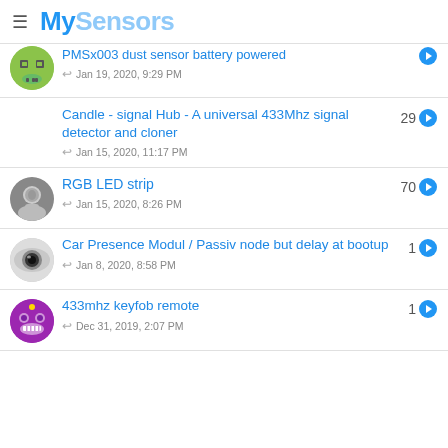MySensors
PMSx003 dust sensor battery powered — Jan 19, 2020, 9:29 PM
Candle - signal Hub - A universal 433Mhz signal detector and cloner — 29 — Jan 15, 2020, 11:17 PM
RGB LED strip — 70 — Jan 15, 2020, 8:26 PM
Car Presence Modul / Passiv node but delay at bootup — 1 — Jan 8, 2020, 8:58 PM
433mhz keyfob remote — 1 — Dec 31, 2019, 2:07 PM